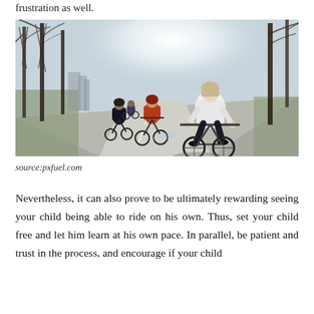frustration as well.
[Figure (photo): Group of cyclists riding away from camera along a tree-lined road in a park on a sunny winter day. The foreground shows a woman in a white puffer jacket on a bicycle. Other cyclists are visible ahead. Bare trees line the road with bright sunlight filtering through. City buildings visible in the background on the left.]
source:pxfuel.com
Nevertheless, it can also prove to be ultimately rewarding seeing your child being able to ride on his own. Thus, set your child free and let him learn at his own pace. In parallel, be patient and trust in the process, and encourage if your child